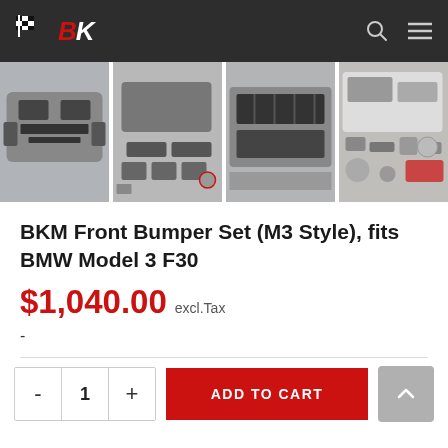BK (logo) — navigation header with search and menu icons
[Figure (photo): Four product thumbnail images showing BMW M3 Style front bumper set components from different angles]
BKM Front Bumper Set (M3 Style), fits BMW Model 3 F30
$1,040.00 excl.Tax
-
- 1 + ADD TO CART (quantity selector and add to cart button)